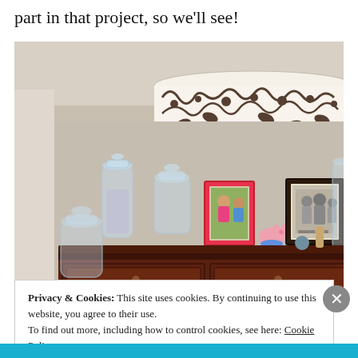part in that project, so we'll see!
[Figure (photo): Interior room photo showing a dark wood dresser/buffet with decorative items on top including glass apothecary jars, a pink picture frame with a photo of two people, a small pink pig figurine, a dark framed black-and-white family photo, and other small decorative objects. Above the dresser hangs a large drum pendant light with a black and white floral pattern lampshade. The room has beige/taupe walls.]
Privacy & Cookies: This site uses cookies. By continuing to use this website, you agree to their use.
To find out more, including how to control cookies, see here: Cookie Policy
Close and accept